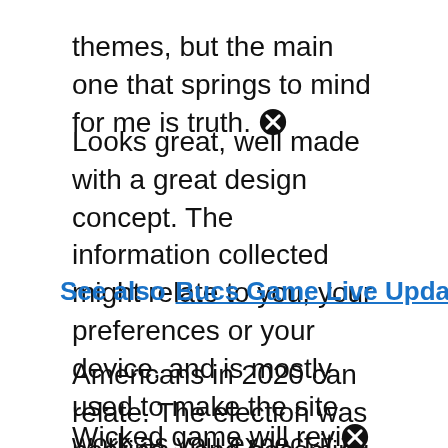themes, but the main one that springs to mind for me is truth.
Looks great, well made with a great design concept. The information collected might relate to you, your preferences or your device, and is mostly used to make the site work as you expect it to and to. Wicked game podcast from wondery.
See also  Bucs Game Live Updates
Americans in 2020 can relate. The election was nearing—and becoming heated. Do not sell my personal information.
Wicked game will review the entire history of